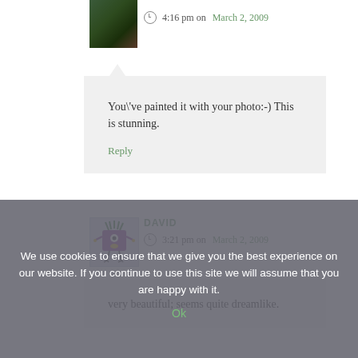[Figure (photo): User avatar photo showing dark plant/vegetable image]
4:16 pm on March 2, 2009
You\'ve painted it with your photo:-) This is stunning.
Reply
[Figure (illustration): Cartoon avatar of a purple square creature with green hair, one eye, and stick legs (DAVID)]
DAVID
3:21 pm on March 2, 2009
very beautiful; seems quite dreamlike.
We use cookies to ensure that we give you the best experience on our website. If you continue to use this site we will assume that you are happy with it.
Ok